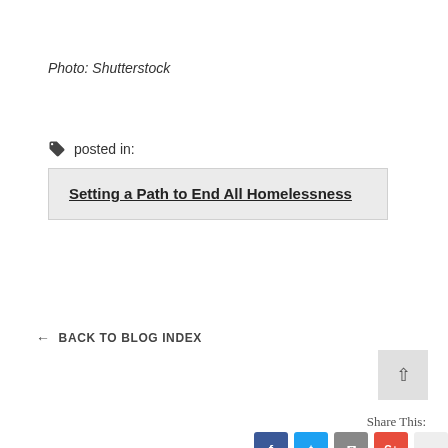Photo: Shutterstock
posted in:
Setting a Path to End All Homelessness
← BACK TO BLOG INDEX
Share This: